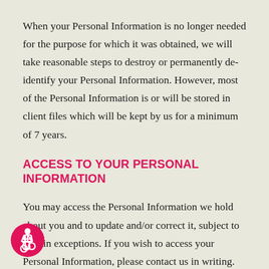When your Personal Information is no longer needed for the purpose for which it was obtained, we will take reasonable steps to destroy or permanently de-identify your Personal Information. However, most of the Personal Information is or will be stored in client files which will be kept by us for a minimum of 7 years.
ACCESS TO YOUR PERSONAL INFORMATION
You may access the Personal Information we hold about you and to update and/or correct it, subject to certain exceptions. If you wish to access your Personal Information, please contact us in writing.
[Figure (illustration): Accessibility icon — white wheelchair user symbol on a pink/magenta circular background]